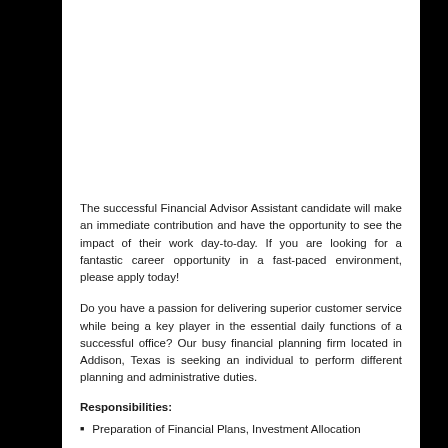The successful Financial Advisor Assistant candidate will make an immediate contribution and have the opportunity to see the impact of their work day-to-day. If you are looking for a fantastic career opportunity in a fast-paced environment, please apply today!
Do you have a passion for delivering superior customer service while being a key player in the essential daily functions of a successful office? Our busy financial planning firm located in Addison, Texas is seeking an individual to perform different planning and administrative duties.
Responsibilities:
Preparation of Financial Plans, Investment Allocation